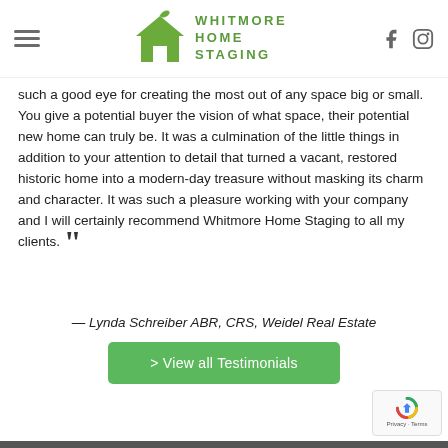Whitmore Home Staging (logo and navigation header)
such a good eye for creating the most out of any space big or small. You give a potential buyer the vision of what space, their potential new home can truly be. It was a culmination of the little things in addition to your attention to detail that turned a vacant, restored historic home into a modern-day treasure without masking its charm and character. It was such a pleasure working with your company and I will certainly recommend Whitmore Home Staging to all my clients.
— Lynda Schreiber ABR, CRS, Weidel Real Estate
> View all Testimonials